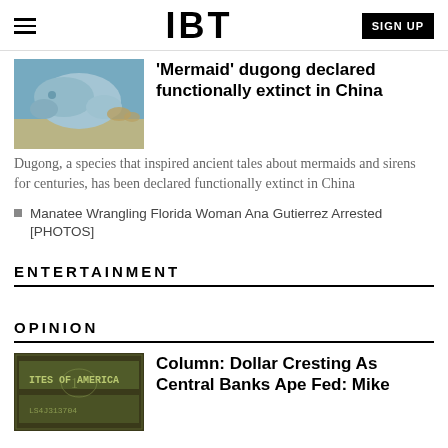IBT
'Mermaid' dugong declared functionally extinct in China
Dugong, a species that inspired ancient tales about mermaids and sirens for centuries, has been declared functionally extinct in China
Manatee Wrangling Florida Woman Ana Gutierrez Arrested [PHOTOS]
ENTERTAINMENT
OPINION
[Figure (photo): Dugong underwater near sandy seabed]
Column: Dollar Cresting As Central Banks Ape Fed: Mike
[Figure (photo): US dollar bills close-up]